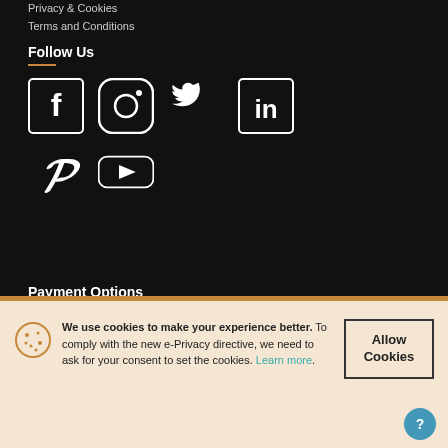Privacy & Cookies
Terms and Conditions
Follow Us
[Figure (infographic): Social media icons: Facebook, Instagram, Twitter, LinkedIn, Pinterest, YouTube]
Payment Options
We use cookies to make your experience better. To comply with the new e-Privacy directive, we need to ask for your consent to set the cookies. Learn more.